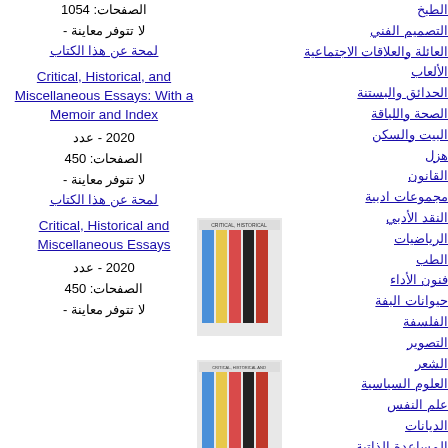الصفحات: 1054
لا تتوفر معاينة -
لمحة عن هذا الكتاب
Critical, Historical, and Miscellaneous Essays: With a Memoir and Index
[Figure (photo): Book cover showing colored vertical spines - Critical, Historical, and Miscellaneous Essays: With a Memoir and Index]
2020 - عدد
الصفحات: 450
لا تتوفر معاينة -
لمحة عن هذا الكتاب
Critical, Historical and Miscellaneous Essays
[Figure (photo): Book cover showing colored vertical spines - Critical, Historical and Miscellaneous Essays]
2020 - عدد
الصفحات: 450
لا تتوفر معاينة -
الطبخ
التصميم الفني
العائلة والعلاقات الاجتماعية
الألعاب
الحدائق والبستنة
الصحة واللياقة
البيت والسكن
هزل
القانون
مجموعات ادبية
النقد الأدبي
الرياضيات
الطب
فنون الأداء
حيوانات البفة
الفلسفة
التصوير
الشعر
العلوم السياسية
علم النفس
الديانات
المساعدة الذاتية